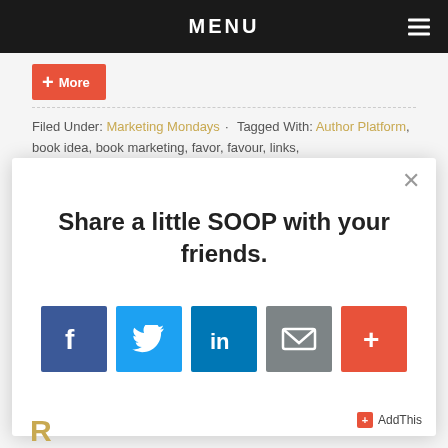MENU
+ More
Filed Under: Marketing Mondays · Tagged With: Author Platform, book idea, book marketing, favor, favour, links,
[Figure (screenshot): Modal dialog with social sharing prompt: 'Share a little SOOP with your friends.' with Facebook, Twitter, LinkedIn, Email, and More (+) share buttons, and AddThis branding in the bottom right.]
R...